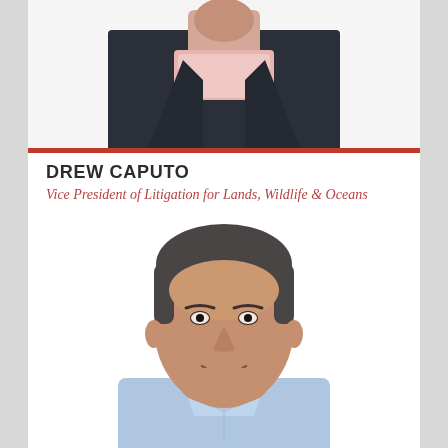[Figure (photo): Partial photo of a man in a dark suit and pink/white checked shirt, cropped showing torso and lower face only, white background.]
DREW CAPUTO
Vice President of Litigation for Lands, Wildlife & Oceans
[Figure (photo): Headshot photo of Drew Caputo, a smiling middle-aged man with short dark grey hair, wearing a light blue collared shirt, white background.]